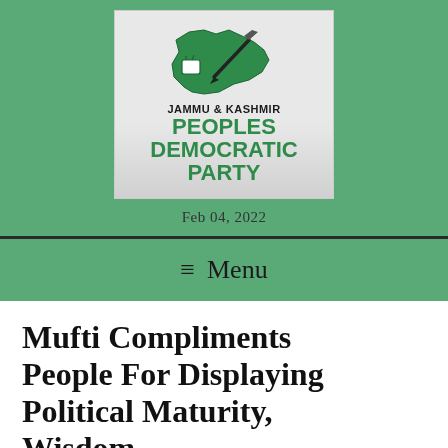[Figure (logo): Jammu & Kashmir Peoples Democratic Party logo with green map of Kashmir region and pen/ballot imagery]
Feb 04, 2022
≡  Menu
Mufti Compliments People For Displaying Political Maturity, Wisdom